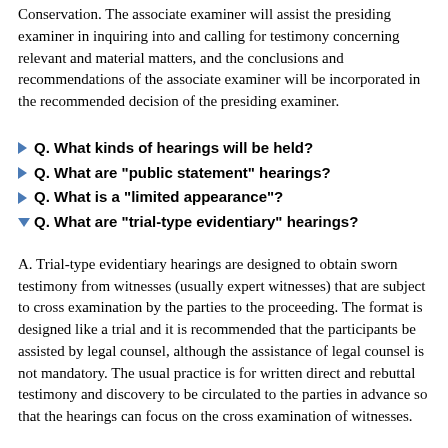Conservation. The associate examiner will assist the presiding examiner in inquiring into and calling for testimony concerning relevant and material matters, and the conclusions and recommendations of the associate examiner will be incorporated in the recommended decision of the presiding examiner.
Q. What kinds of hearings will be held?
Q. What are "public statement" hearings?
Q. What is a "limited appearance"?
Q. What are "trial-type evidentiary" hearings?
A. Trial-type evidentiary hearings are designed to obtain sworn testimony from witnesses (usually expert witnesses) that are subject to cross examination by the parties to the proceeding. The format is designed like a trial and it is recommended that the participants be assisted by legal counsel, although the assistance of legal counsel is not mandatory. The usual practice is for written direct and rebuttal testimony and discovery to be circulated to the parties in advance so that the hearings can focus on the cross examination of witnesses.
Q. What is "discovery"?
A. "Discovery" is a pre-trial process used by parties to obtain facts